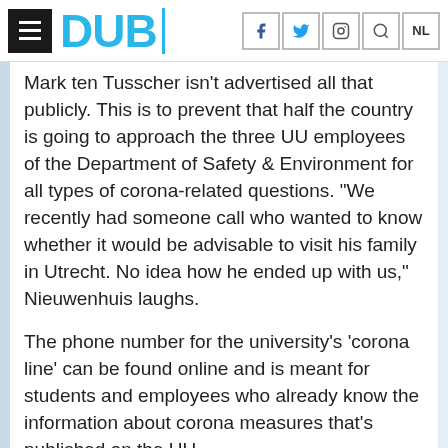DUB
Mark ten Tusscher isn't advertised all that publicly. This is to prevent that half the country is going to approach the three UU employees of the Department of Safety & Environment for all types of corona-related questions. “We recently had someone call who wanted to know whether it would be advisable to visit his family in Utrecht. No idea how he ended up with us,” Nieuwenhuis laughs.
The phone number for the university’s ‘corona line’ can be found online and is meant for students and employees who already know the information about corona measures that’s published on the UU